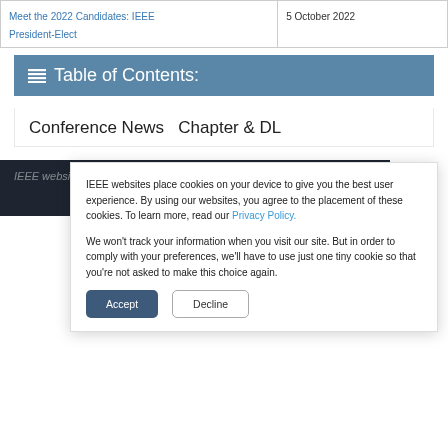|  |  |
| --- | --- |
| Meet the 2022 Candidates: IEEE President-Elect | 5 October 2022 |
Table of Contents:
Conference News   Chapter & DL
IEEE websites place cookies on your
IEEE websites place cookies on your device to give you the best user experience. By using our websites, you agree to the placement of these cookies. To learn more, read our Privacy Policy.

We won't track your information when you visit our site. But in order to comply with your preferences, we'll have to use just one tiny cookie so that you're not asked to make this choice again.